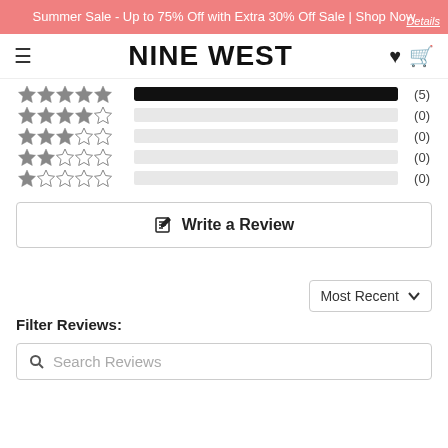Summer Sale - Up to 75% Off with Extra 30% Off Sale | Shop Now
[Figure (logo): Nine West logo with hamburger menu, heart icon, and shopping bag icon]
[Figure (bar-chart): Star ratings distribution]
Write a Review
Filter Reviews:
Most Recent
Search Reviews